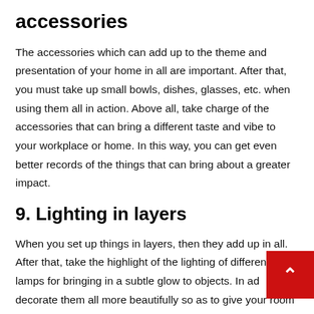accessories
The accessories which can add up to the theme and presentation of your home in all are important. After that, you must take up small bowls, dishes, glasses, etc. when using them all in action. Above all, take charge of the accessories that can bring a different taste and vibe to your workplace or home. In this way, you can get even better records of the things that can bring about a greater impact.
9.  Lighting in layers
When you set up things in layers, then they add up in all. After that, take the highlight of the lighting of different lamps for bringing in a subtle glow to objects. In addition, decorate them all more beautifully so as to give your room